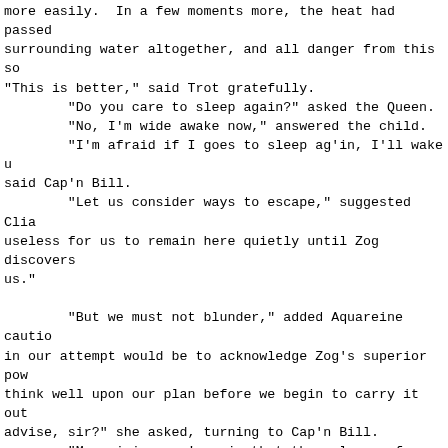more easily.  In a few moments more, the heat had passed surrounding water altogether, and all danger from this so "This is better," said Trot gratefully.
        "Do you care to sleep again?" asked the Queen.
        "No, I'm wide awake now," answered the child.
        "I'm afraid if I goes to sleep ag'in, I'll wake u said Cap'n Bill.
        "Let us consider ways to escape," suggested Clia useless for us to remain here quietly until Zog discovers us."

        "But we must not blunder," added Aquareine cautio in our attempt would be to acknowledge Zog's superior pow think well upon our plan before we begin to carry it out advise, sir?" she asked, turning to Cap'n Bill.
        "My opinion, ma'am, is that the only way for us t get out o' here," was the sailor's vague answer.  "How to business, seein' as I ain't no fairy myself, either in lo eddication."
        The queen smiled and said to Trot, "What is your
        "I think we might swim out the same way we came i child.  "If we could get Sacho to lead us back through th follow that long tunnel to the open ocean, and--"
        "And there would be the sea devils waitin' for us Bill with a shake of his bald head.  "They'd drive us bac tunnel like they did the first time, Trot.  It won't do, do."

        "Have you a suggestion, Clia?" inquired the Queen
        "I have thought of an undertaking," replied the p "but it is a bold plan, your Majesty, and you may not ca
        "Let us hear it, anyway," said Aquareine encouraga
        "It is to destroy Zog himself and put him out of